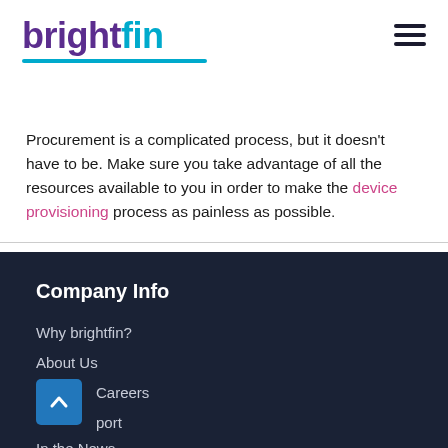brightfin
Procurement is a complicated process, but it doesn't have to be. Make sure you take advantage of all the resources available to you in order to make the device provisioning process as painless as possible.
Company Info
Why brightfin?
About Us
Careers
Support
In the News